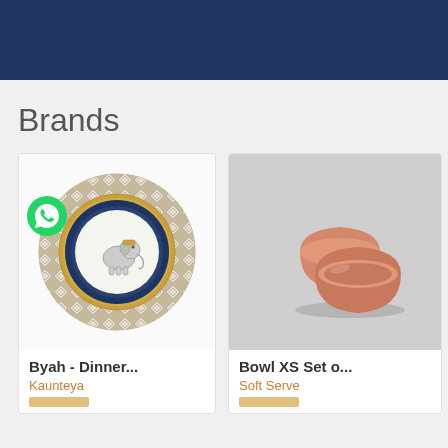[Figure (other): Dark navy blue header banner]
Brands
[Figure (photo): Decorative dinner plate with elephant motif, gold and dark blue border, diamond pattern on rim - Byah Dinner product by Kaunteya brand. WhatsApp icon overlay in bottom-left.]
Byah - Dinner...
Kaunteya
[Figure (photo): Two stacked terracotta/salmon colored ceramic bowls on light gray background - Bowl XS Set product by Soft Serve brand]
Bowl XS Set o...
Soft Serve